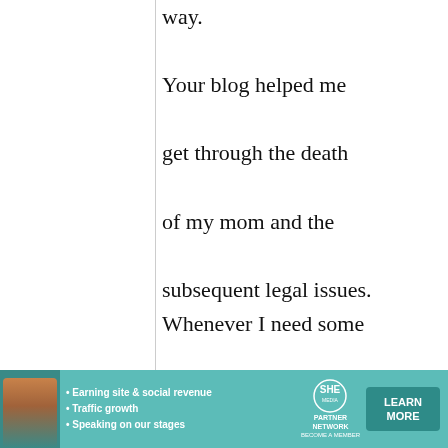way.

Your blog helped me get through the death of my mom and the subsequent legal issues. Whenever I need some "haha no aji," I know I can depend on you.

Thank you so much and fighto!
[Figure (infographic): SHE Partner Network advertisement banner with woman photo, bullet points about earning site & social revenue, traffic growth, speaking on stages, SHE logo, and Learn More button]